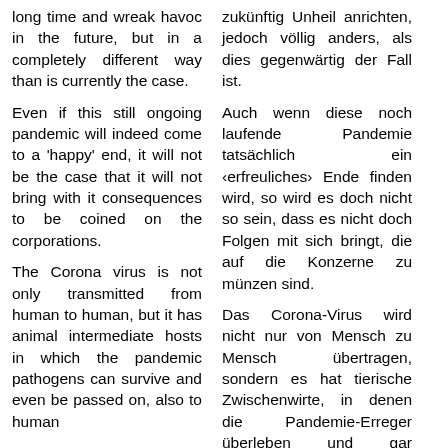long time and wreak havoc in the future, but in a completely different way than is currently the case.
Even if this still ongoing pandemic will indeed come to a 'happy' end, it will not be the case that it will not bring with it consequences to be coined on the corporations.
The Corona virus is not only transmitted from human to human, but it has animal intermediate hosts in which the pandemic pathogens can survive and even be passed on, also to human
zukünftig Unheil anrichten, jedoch völlig anders, als dies gegenwärtig der Fall ist.
Auch wenn diese noch laufende Pandemie tatsächlich ein ‹erfreuliches› Ende finden wird, so wird es doch nicht so sein, dass es nicht doch Folgen mit sich bringt, die auf die Konzerne zu münzen sind.
Das Corona-Virus wird nicht nur von Mensch zu Mensch übertragen, sondern es hat tierische Zwischenwirte, in denen die Pandemie-Erreger überleben und gar weitergegeben werden können, auch an den